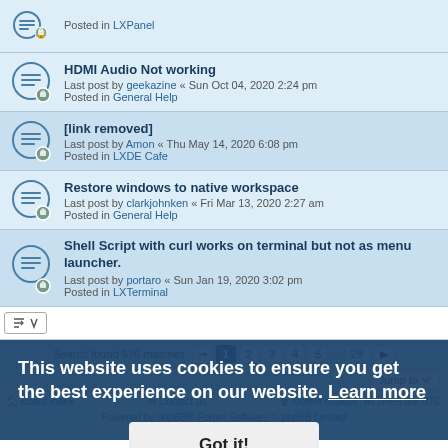Posted in LXPanel
HDMI Audio Not working — Last post by geekazine « Sun Oct 04, 2020 2:24 pm — Posted in General Help
[link removed] — Last post by Amon « Thu May 14, 2020 6:08 pm — Posted in LXDE Cafe
Restore windows to native workspace — Last post by clarkjohnken « Fri Mar 13, 2020 2:27 am — Posted in General Help
Shell Script with curl works on terminal but not as menu launcher. — Last post by portaro « Sun Jan 19, 2020 3:02 pm — Posted in LXTerminal
Search found 676 matches  1 2 3 4 5 ... 28
Jump to
Board index   Contact us   Delete cookies   All times are UTC
Powered by phpBB® Forum Software © phpBB Limited
Privacy | Terms
This website uses cookies to ensure you get the best experience on our website. Learn more
Got it!